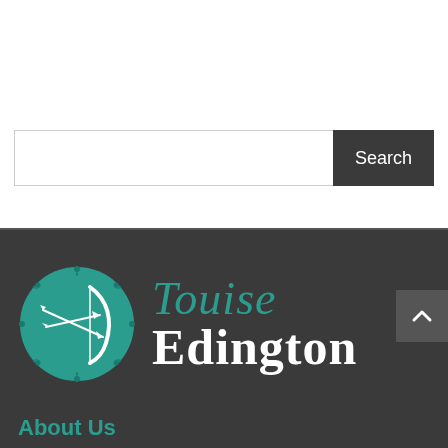[Figure (screenshot): Search bar with white input field and dark grey Search button]
[Figure (logo): Louise Edington logo: teal circle with bow and arrow icon, teal italic 'Louise' text and white bold 'Edington' text on dark grey background]
About Us